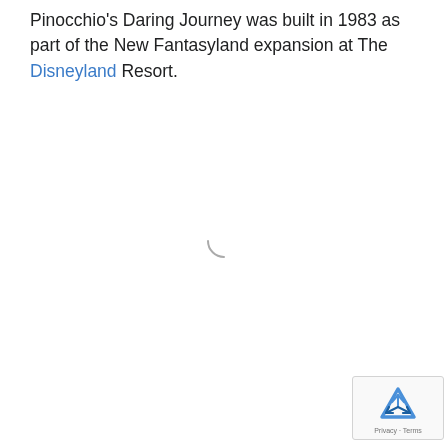Pinocchio's Daring Journey was built in 1983 as part of the New Fantasyland expansion at The Disneyland Resort.
[Figure (other): Loading spinner (partial arc circle) indicating content is loading]
[Figure (other): reCAPTCHA widget box with Google reCAPTCHA logo and Privacy - Terms text]